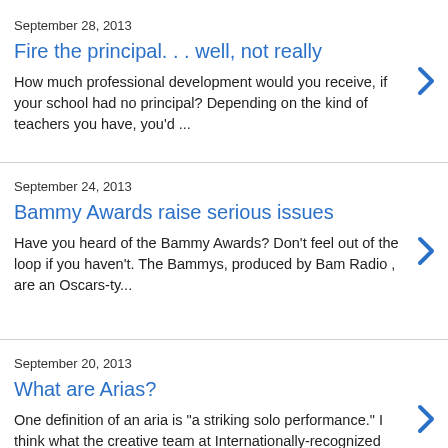September 28, 2013
Fire the principal. . . well, not really
How much professional development would you receive, if your school had no principal? Depending on the kind of teachers you have, you'd ...
September 24, 2013
Bammy Awards raise serious issues
Have you heard of the Bammy Awards? Don't feel out of the loop if you haven't. The Bammys, produced by Bam Radio , are an Oscars-ty...
September 20, 2013
What are Arias?
One definition of an aria is "a striking solo performance." I think what the creative team at Internationally-recognized education...